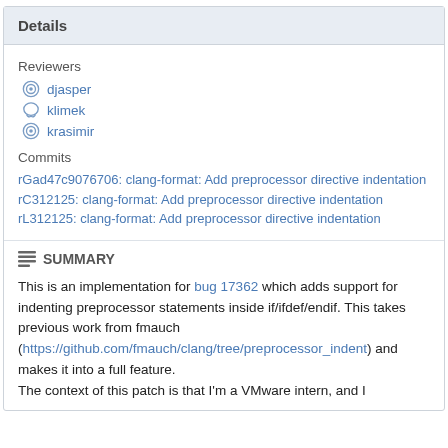Details
Reviewers
djasper
klimek
krasimir
Commits
rGad47c9076706: clang-format: Add preprocessor directive indentation
rC312125: clang-format: Add preprocessor directive indentation
rL312125: clang-format: Add preprocessor directive indentation
SUMMARY
This is an implementation for bug 17362 which adds support for indenting preprocessor statements inside if/ifdef/endif. This takes previous work from fmauch (https://github.com/fmauch/clang/tree/preprocessor_indent) and makes it into a full feature.
The context of this patch is that I'm a VMware intern, and I